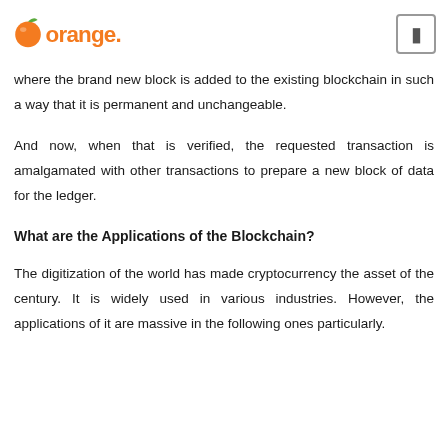orange
where the brand new block is added to the existing blockchain in such a way that it is permanent and unchangeable.
And now, when that is verified, the requested transaction is amalgamated with other transactions to prepare a new block of data for the ledger.
What are the Applications of the Blockchain?
The digitization of the world has made cryptocurrency the asset of the century. It is widely used in various industries. However, the applications of it are massive in the following ones particularly.